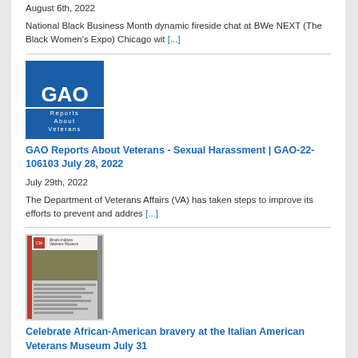August 6th, 2022
National Black Business Month dynamic fireside chat at BWe NEXT (The Black Women's Expo) Chicago wit [...]
[Figure (logo): GAO logo with blue background and white text 'GAO', below reads 'Reports About Veterans']
GAO Reports About Veterans - Sexual Harassment | GAO-22-106103 July 28, 2022
July 29th, 2022
The Department of Veterans Affairs (VA) has taken steps to improve its efforts to prevent and addres [...]
[Figure (photo): Thumbnail image of a newsletter or document for Illinois-Indiana Veterans Museum]
Celebrate African-American bravery at the Italian American Veterans Museum July 31
July 28th, 2022